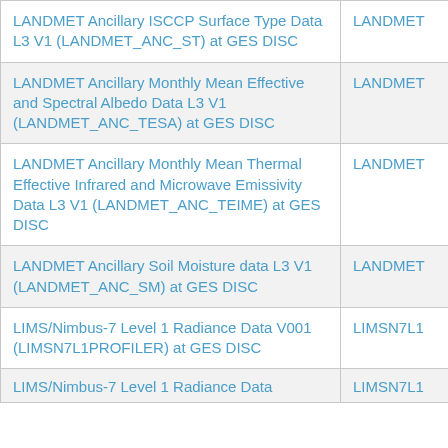| Title | Short Name |
| --- | --- |
| LANDMET Ancillary ISCCP Surface Type Data L3 V1 (LANDMET_ANC_ST) at GES DISC | LANDMET |
| LANDMET Ancillary Monthly Mean Effective and Spectral Albedo Data L3 V1 (LANDMET_ANC_TESA) at GES DISC | LANDMET |
| LANDMET Ancillary Monthly Mean Thermal Effective Infrared and Microwave Emissivity Data L3 V1 (LANDMET_ANC_TEIME) at GES DISC | LANDMET |
| LANDMET Ancillary Soil Moisture data L3 V1 (LANDMET_ANC_SM) at GES DISC | LANDMET |
| LIMS/Nimbus-7 Level 1 Radiance Data V001 (LIMSN7L1PROFILER) at GES DISC | LIMSN7L1 |
| LIMS/Nimbus-7 Level 1 Radiance Data | LIMSN7L1 |